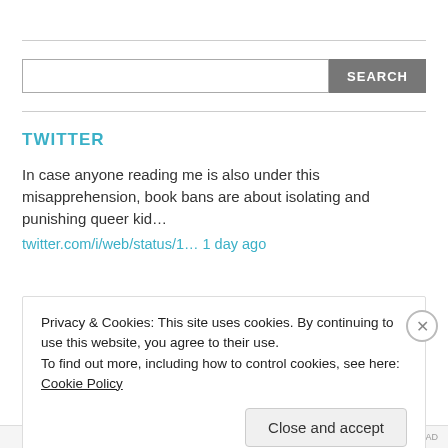[Figure (screenshot): Search bar with text input and SEARCH button]
TWITTER
In case anyone reading me is also under this misapprehension, book bans are about isolating and punishing queer kid…
twitter.com/i/web/status/1… 1 day ago
Privacy & Cookies: This site uses cookies. By continuing to use this website, you agree to their use.
To find out more, including how to control cookies, see here: Cookie Policy
Close and accept